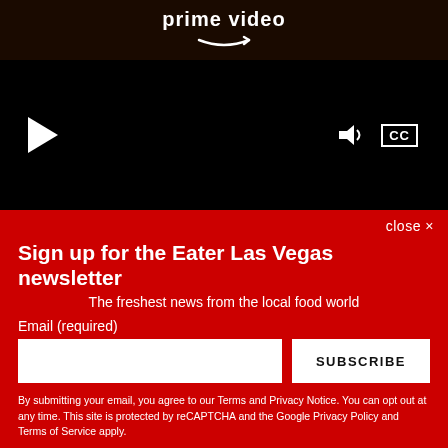[Figure (screenshot): Amazon Prime Video player screenshot showing dark video with Prime Video logo/text at top, play button on lower left, volume and CC controls on lower right, all on black background.]
close ×
Sign up for the Eater Las Vegas newsletter
The freshest news from the local food world
Email (required)
SUBSCRIBE
By submitting your email, you agree to our Terms and Privacy Notice. You can opt out at any time. This site is protected by reCAPTCHA and the Google Privacy Policy and Terms of Service apply.